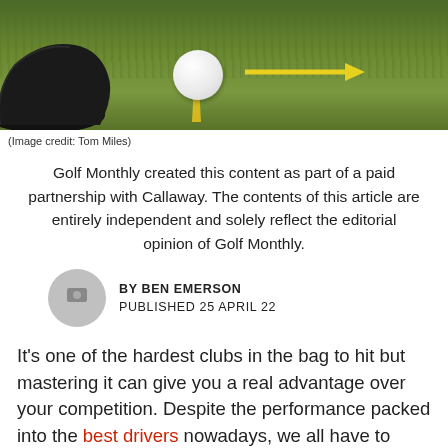[Figure (photo): A golf ball on a tee in grass with a golf shoe visible on the left and a yellow arrow pointing to the ball on the right]
(Image credit: Tom Miles)
Golf Monthly created this content as part of a paid partnership with Callaway. The contents of this article are entirely independent and solely reflect the editorial opinion of Golf Monthly.
BY BEN EMERSON
PUBLISHED 25 APRIL 22
It’s one of the hardest clubs in the bag to hit but mastering it can give you a real advantage over your competition. Despite the performance packed into the best drivers nowadays, we all have to endure days when it